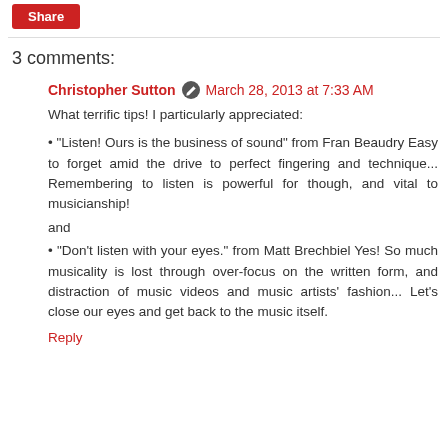[Figure (other): Share button — red rectangular button with white text 'Share']
3 comments:
Christopher Sutton   March 28, 2013 at 7:33 AM
What terrific tips! I particularly appreciated:
• "Listen! Ours is the business of sound" from Fran Beaudry Easy to forget amid the drive to perfect fingering and technique... Remembering to listen is powerful for though, and vital to musicianship!
and
• "Don't listen with your eyes." from Matt Brechbiel Yes! So much musicality is lost through over-focus on the written form, and distraction of music videos and music artists' fashion... Let's close our eyes and get back to the music itself.
Reply